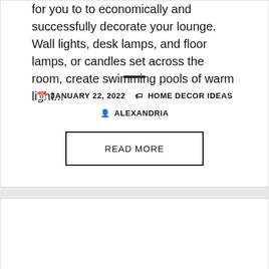for you to to economically and successfully decorate your lounge. Wall lights, desk lamps, and floor lamps, or candles set across the room, create swimming pools of warm light...
JANUARY 22, 2022  HOME DECOR IDEAS  ALEXANDRIA
READ MORE
Decorating Ideas For Mobile Properties